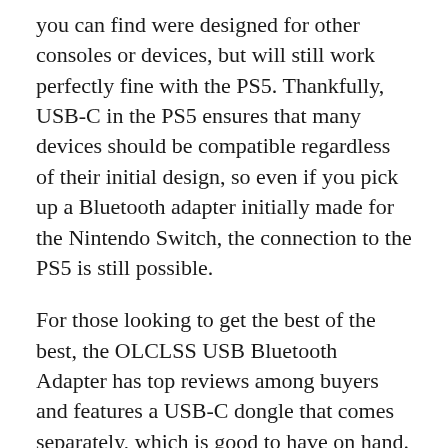you can find were designed for other consoles or devices, but will still work perfectly fine with the PS5. Thankfully, USB-C in the PS5 ensures that many devices should be compatible regardless of their initial design, so even if you pick up a Bluetooth adapter initially made for the Nintendo Switch, the connection to the PS5 is still possible.
For those looking to get the best of the best, the OLCLSS USB Bluetooth Adapter has top reviews among buyers and features a USB-C dongle that comes separately, which is good to have on hand. If you're looking for something less noticeable when attached to your console, you can also go for the Avantree DG80, a tiny but mighty Bluetooth adapter that gives you some awe-inspiring range.
Regardless of what Bluetooth adapter you choose, you'll likely be in good hands. If you'd rather wait it